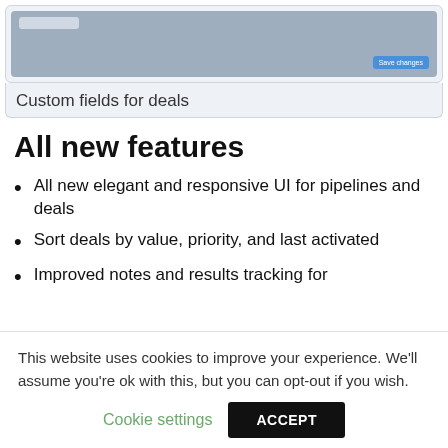[Figure (screenshot): Screenshot of a software UI showing custom fields for deals with a 'Save changes' button]
Custom fields for deals
All new features
All new elegant and responsive UI for pipelines and deals
Sort deals by value, priority, and last activated
Improved notes and results tracking for
This website uses cookies to improve your experience. We'll assume you're ok with this, but you can opt-out if you wish.
Cookie settings   ACCEPT